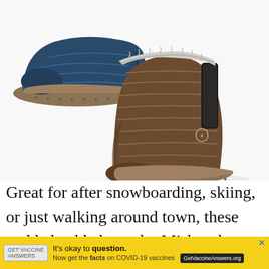[Figure (photo): Two padded ankle boots/shoes by Mishansha. One is a low navy blue slip-on shoe shown at top left. The second is a taller brown ankle boot with a black side strap and fur lining shown at center-right, displayed on a white background.]
Great for after snowboarding, skiing, or just walking around town, these padded ankle boots by Mishansha come in a couple of different styles and a variety of colors and a
[Figure (screenshot): Yellow advertisement banner: 'It's okay to question. Now get the facts on COVID-19 vaccines GetVaccineAnswers.org' with a close X button.]